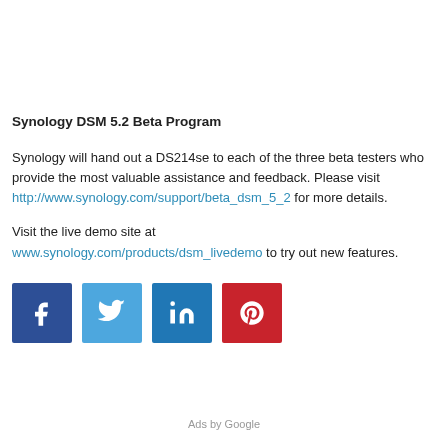Synology DSM 5.2 Beta Program
Synology will hand out a DS214se to each of the three beta testers who provide the most valuable assistance and feedback. Please visit http://www.synology.com/support/beta_dsm_5_2 for more details.
Visit the live demo site at www.synology.com/products/dsm_livedemo to try out new features.
[Figure (infographic): Four social media share buttons: Facebook (blue), Twitter (light blue), LinkedIn (blue), Pinterest (red)]
Ads by Google